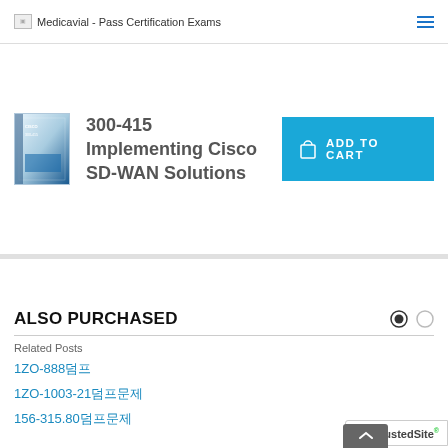Medicavial - Pass Certification Exams
[Figure (photo): Product book cover image for 300-415 Implementing Cisco SD-WAN Solutions exam prep]
300-415 Implementing Cisco SD-WAN Solutions
ADD TO CART
ALSO PURCHASED
Related Posts
1ZO-888덤프
1ZO-1003-21덤프문제
156-315.80덤프문제